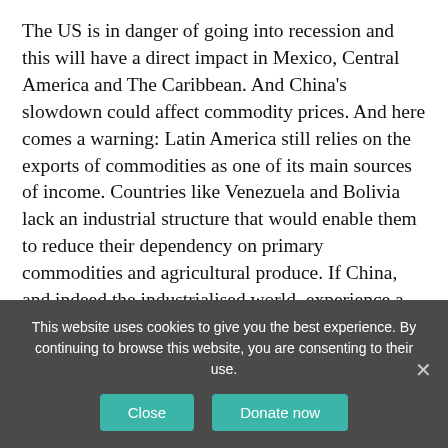The US is in danger of going into recession and this will have a direct impact in Mexico, Central America and The Caribbean. And China's slowdown could affect commodity prices. And here comes a warning: Latin America still relies on the exports of commodities as one of its main sources of income. Countries like Venezuela and Bolivia lack an industrial structure that would enable them to reduce their dependency on primary commodities and agricultural produce. If China, and indeed the industrialised world, experience a slowdown in their manufacturing sectors, this could potentially have serious consequences for commodity exporters in the region. However, the international
This website uses cookies to give you the best experience. By continuing to browse this website, you are consenting to their use.